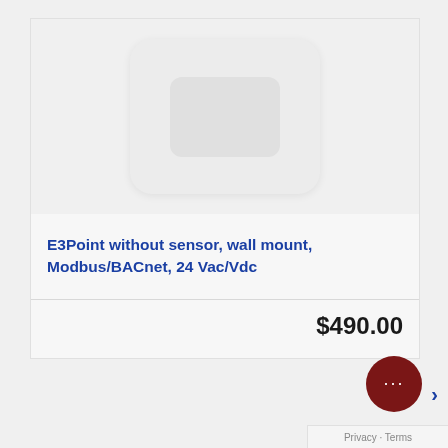[Figure (photo): Product photo of E3Point gas detector device, wall-mount unit, shown as a rounded rectangular white/light gray device]
E3Point without sensor, wall mount, Modbus/BACnet, 24 Vac/Vdc
$490.00